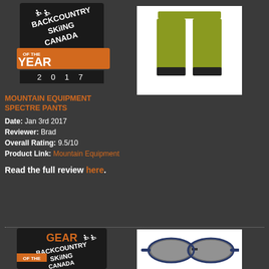[Figure (logo): Backcountry Skiing Canada 'Of The Year 2017' award badge with black and white skiing figures and orange banner]
[Figure (photo): Mountain Equipment Spectre Pants in olive/yellow-green color on white background]
MOUNTAIN EQUIPMENT SPECTRE PANTS
Date: Jan 3rd 2017
Reviewer: Brad
Overall Rating: 9.5/10
Product Link: Mountain Equipment
Read the full review here.
[Figure (logo): Backcountry Skiing Canada 'Gear Of The Year' award badge with orange GEAR text and black/white skiing figures]
[Figure (photo): Revo sunglasses with dark lenses and blue/black frames on white background]